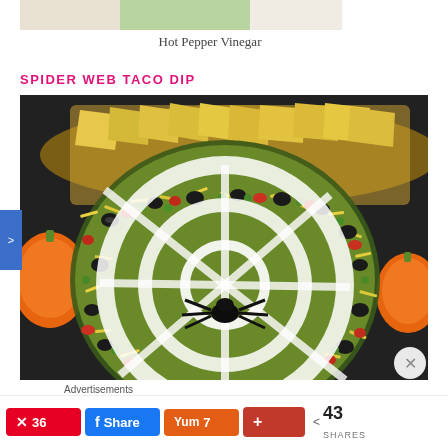[Figure (photo): Top strip of a food photo showing Hot Pepper Vinegar dish, partially visible at top of page]
Hot Pepper Vinegar
SPIDER WEB TACO DIP
[Figure (photo): Overhead photo of a spider web taco dip in a glass dish, decorated with sour cream spider web pattern, black olive spider, shredded yellow cheese, guacamole, diced tomatoes, green peas, surrounded by tortilla chips on a wooden board, with small orange pumpkins on the sides, on a black dotted tablecloth]
Advertisements
[Figure (photo): Partial advertisement image strip at bottom]
Pin 36  Share  Yummly 7  + 43 SHARES